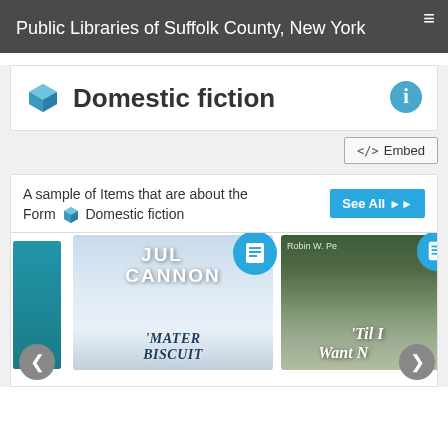Public Libraries of Suffolk County, New York
Domestic fiction
</> Embed
A sample of Items that are about the Form [cube] Domestic fiction
[Figure (screenshot): Book cover for Mater Biscuit by Julie Cannon, blue sky and church steeple]
[Figure (screenshot): Book cover for 'Til I Want No More by Robin W. Pe..., forest landscape]